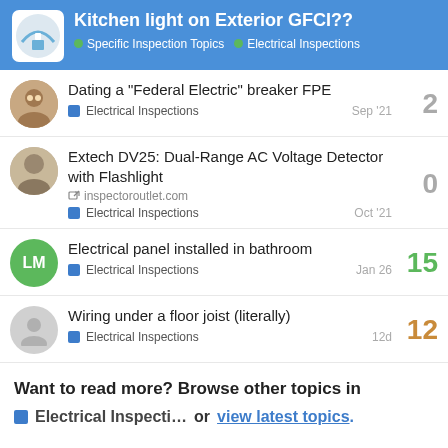Kitchen light on Exterior GFCI?? — Specific Inspection Topics — Electrical Inspections
Dating a "Federal Electric" breaker FPE — Electrical Inspections — Sep '21 — replies: 2
Extech DV25: Dual-Range AC Voltage Detector with Flashlight — inspectoroutlet.com — Electrical Inspections — Oct '21 — replies: 0
Electrical panel installed in bathroom — Electrical Inspections — Jan 26 — replies: 15
Wiring under a floor joist (literally) — Electrical Inspections — 12d — replies: 12
Want to read more? Browse other topics in Electrical Inspecti… or view latest topics.